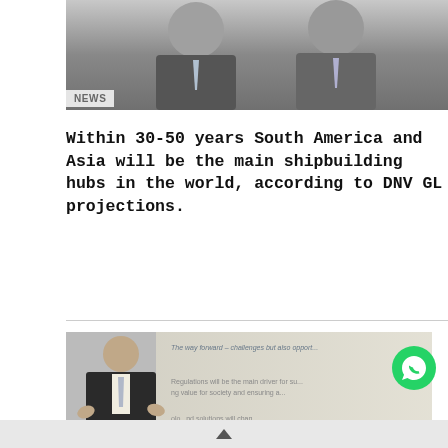[Figure (photo): Two men in suits with ties, upper body visible, standing against a light background]
NEWS
Within 30-50 years South America and Asia will be the main shipbuilding hubs in the world, according to DNV GL projections.
[Figure (photo): Man in dark suit speaking at a conference or presentation, with a projected slide visible behind him reading: 'The way forward – challenges but also opportunities', 'Regulations will be the main driver for sustaining value for society and ensuring a...', 'Technologies and solutions will change shipping – a great opportunity']